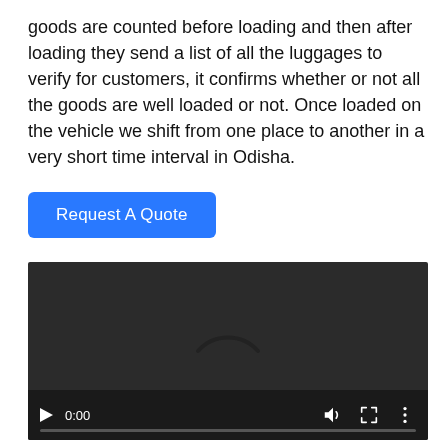goods are counted before loading and then after loading they send a list of all the luggages to verify for customers, it confirms whether or not all the goods are well loaded or not. Once loaded on the vehicle we shift from one place to another in a very short time interval in Odisha.
[Figure (other): A blue 'Request A Quote' button]
[Figure (screenshot): A video player with dark background showing a loading spinner arc in the center, with playback controls at the bottom including play button, time display '0:00', volume icon, fullscreen icon, and more options icon, and a progress bar.]